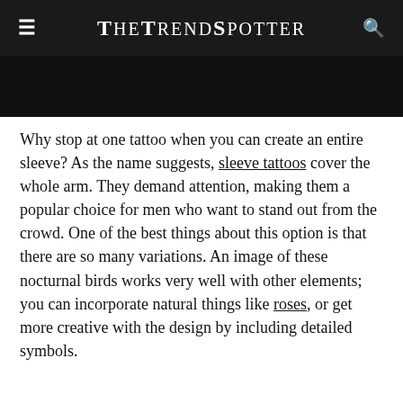TheTrendSpotter
[Figure (photo): Black band / partial image area at top of article]
Why stop at one tattoo when you can create an entire sleeve? As the name suggests, sleeve tattoos cover the whole arm. They demand attention, making them a popular choice for men who want to stand out from the crowd. One of the best things about this option is that there are so many variations. An image of these nocturnal birds works very well with other elements; you can incorporate natural things like roses, or get more creative with the design by including detailed symbols.